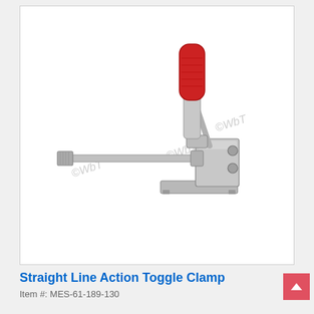[Figure (photo): A straight line action toggle clamp with a red handle grip on top, metallic silver body with adjustment rod/bolt extending to the left, and a flat mounting base at the bottom. Multiple ©WbT watermarks overlaid on the image.]
Straight Line Action Toggle Clamp
Item #: MES-61-189-130